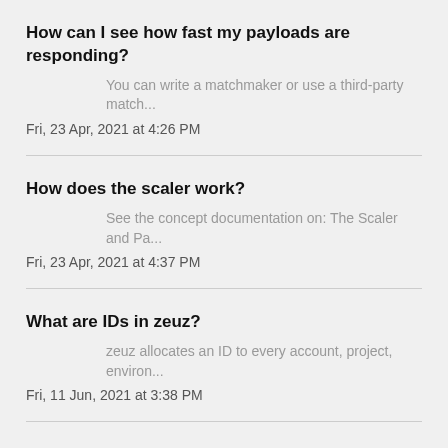How can I see how fast my payloads are responding?
You can write a matchmaker or use a third-party match...
Fri, 23 Apr, 2021 at 4:26 PM
How does the scaler work?
See the concept documentation on: The Scaler and Pa...
Fri, 23 Apr, 2021 at 4:37 PM
What are IDs in zeuz?
zeuz allocates an ID to every account, project, environ...
Fri, 11 Jun, 2021 at 3:38 PM
What are the API languages?
The zeuz SDK download provides resources for the foll...